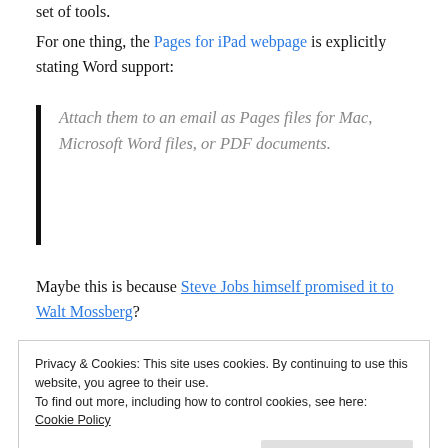set of tools.
For one thing, the Pages for iPad webpage is explicitly stating Word support:
Attach them to an email as Pages files for Mac, Microsoft Word files, or PDF documents.
Maybe this is because Steve Jobs himself promised it to Walt Mossberg?
Privacy & Cookies: This site uses cookies. By continuing to use this website, you agree to their use.
To find out more, including how to control cookies, see here:
Cookie Policy
Close and accept
Keynote on your iPad can be exported